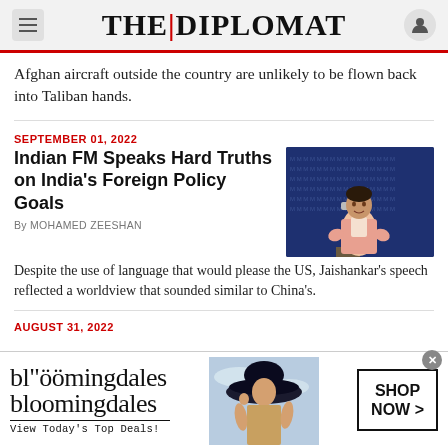THE | DIPLOMAT
Afghan aircraft outside the country are unlikely to be flown back into Taliban hands.
SEPTEMBER 01, 2022
Indian FM Speaks Hard Truths on India's Foreign Policy Goals
By MOHAMED ZEESHAN
[Figure (photo): Man in pink jacket speaking at a podium in front of a dark blue backdrop with repeated logos]
Despite the use of language that would please the US, Jaishankar's speech reflected a worldview that sounded similar to China's.
AUGUST 31, 2022
[Figure (photo): Bloomingdales advertisement: View Today's Top Deals! with SHOP NOW > button and woman in hat]
bloomingdales — View Today's Top Deals! — SHOP NOW >